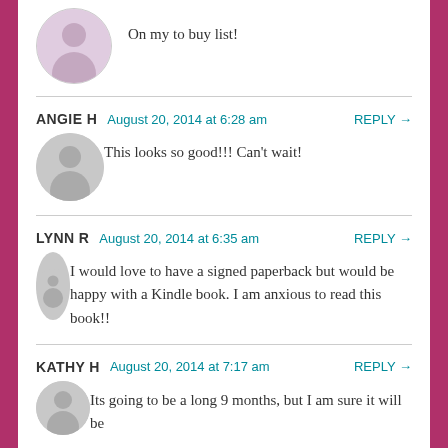On my to buy list!
ANGIE H   August 20, 2014 at 6:28 am   REPLY →
This looks so good!!! Can't wait!
LYNN R   August 20, 2014 at 6:35 am   REPLY →
I would love to have a signed paperback but would be happy with a Kindle book. I am anxious to read this book!!
KATHY H   August 20, 2014 at 7:17 am   REPLY →
Its going to be a long 9 months, but I am sure it will be